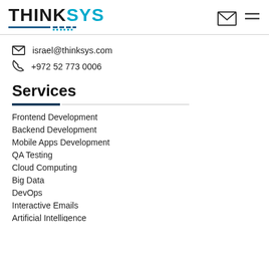[Figure (logo): ThinkSys logo with blue and dark text and dashed underline]
israel@thinksys.com
+972 52 773 0006
Services
Frontend Development
Backend Development
Mobile Apps Development
QA Testing
Cloud Computing
Big Data
DevOps
Interactive Emails
Artificial Intelligence